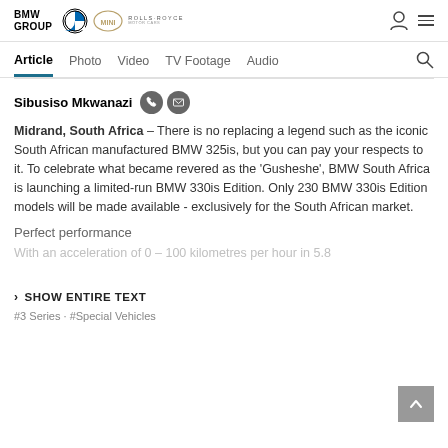BMW GROUP | BMW | MINI | ROLLS-ROYCE
Article | Photo | Video | TV Footage | Audio
Sibusiso Mkwanazi
Midrand, South Africa – There is no replacing a legend such as the iconic South African manufactured BMW 325is, but you can pay your respects to it. To celebrate what became revered as the 'Gusheshe', BMW South Africa is launching a limited-run BMW 330is Edition. Only 230 BMW 330is Edition models will be made available - exclusively for the South African market.
Perfect performance
With an acceleration of 0 – 100 kilometres per hour in 5.8
SHOW ENTIRE TEXT
#3 Series · #Special Vehicles